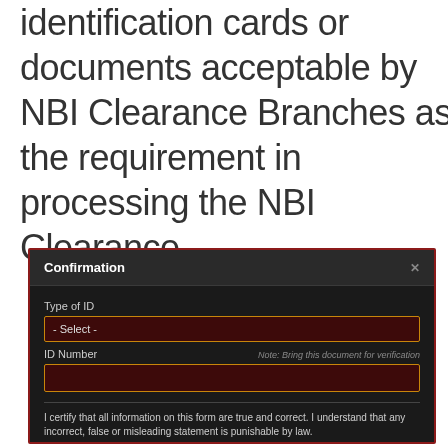identification cards or documents acceptable by NBI Clearance Branches as the requirement in processing the NBI Clearance.
[Figure (screenshot): Screenshot of NBI Clearance online form showing a dark-themed 'Confirmation' dialog box with fields for 'Type of ID' (dropdown showing '- Select -') and 'ID Number' (empty input), a note 'Bring this document for verification', a divider line, and a certification statement.]